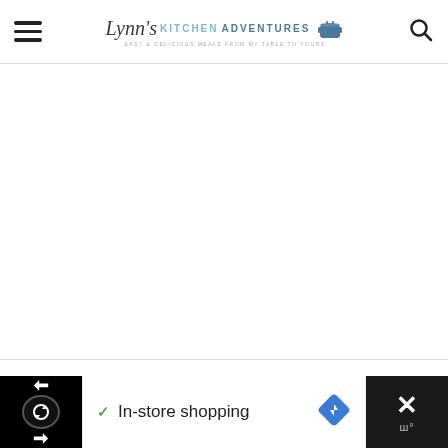Lynn's Kitchen Adventures — Easy & Delicious Meals From My Table To Yours
[Figure (other): Large white/blank content area between header and title section]
GLUTEN FREE RECIPES
[Figure (other): Advertisement bar at bottom: In-store shopping ad with logo icons and X close button]